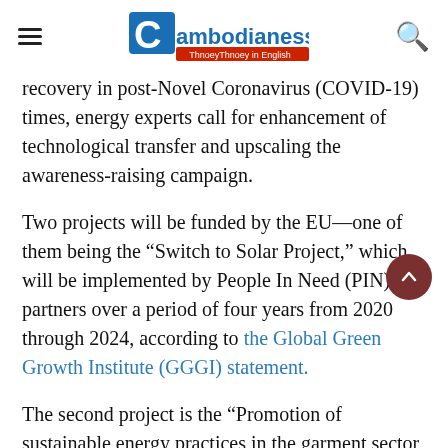Cambodianess - ThnoeyThnoey in English
recovery in post-Novel Coronavirus (COVID-19) times, energy experts call for enhancement of technological transfer and upscaling the awareness-raising campaign.
Two projects will be funded by the EU—one of them being the “Switch to Solar Project,” which will be implemented by People In Need (PIN) and partners over a period of four years from 2020 through 2024, according to the Global Green Growth Institute (GGGI) statement.
The second project is the “Promotion of sustainable energy practices in the garment sector in Cambodia,” which mainly aims to